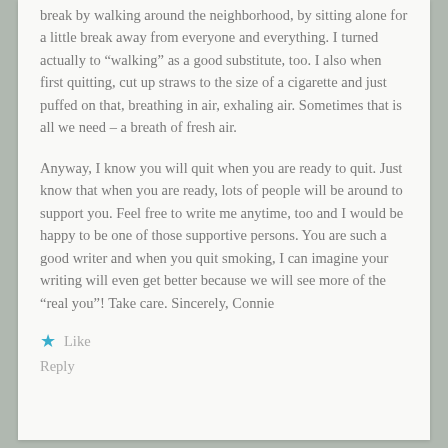break by walking around the neighborhood, by sitting alone for a little break away from everyone and everything. I turned actually to “walking” as a good substitute, too. I also when first quitting, cut up straws to the size of a cigarette and just puffed on that, breathing in air, exhaling air. Sometimes that is all we need – a breath of fresh air.
Anyway, I know you will quit when you are ready to quit. Just know that when you are ready, lots of people will be around to support you. Feel free to write me anytime, too and I would be happy to be one of those supportive persons. You are such a good writer and when you quit smoking, I can imagine your writing will even get better because we will see more of the “real you”! Take care. Sincerely, Connie
Like
Reply